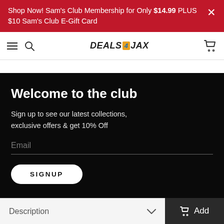Shop Now! Sam's Club Membership for Only $14.99 PLUS $10 Sam's Club E-Gift Card
[Figure (screenshot): Navigation bar with hamburger menu, search icon, Deals4Jax logo, and cart icon]
Welcome to the club
Sign up to see our latest collections, exclusive offers & get 10% Off
Email
SIGNUP
Description
Add